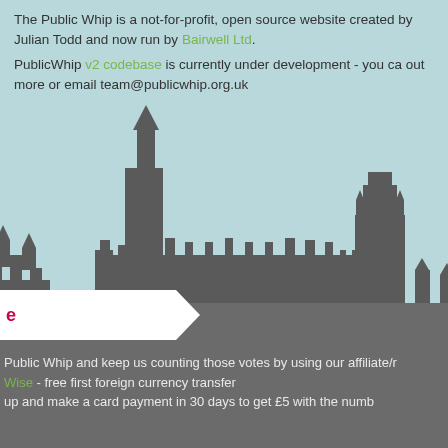The Public Whip is a not-for-profit, open source website created by Julian Todd and now run by Bairwell Ltd.
PublicWhip v2 codebase is currently under development - you can find out more or email team@publicwhip.org.uk
[Figure (illustration): Silhouette of the Houses of Parliament (Westminster Palace) in dark grey against a light blue background]
e
Public Whip and keep us counting those votes by using our affiliate/r... Wise - free first foreign currency transfer ... up and make a card payment in 30 days to get £5 with the numb...